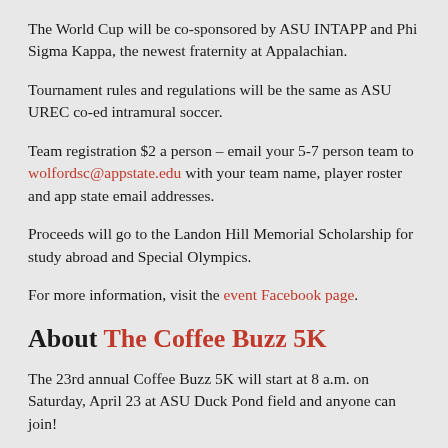The World Cup will be co-sponsored by ASU INTAPP and Phi Sigma Kappa, the newest fraternity at Appalachian.
Tournament rules and regulations will be the same as ASU UREC co-ed intramural soccer.
Team registration $2 a person – email your 5-7 person team to wolfordsc@appstate.edu with your team name, player roster and app state email addresses.
Proceeds will go to the Landon Hill Memorial Scholarship for study abroad and Special Olympics.
For more information, visit the event Facebook page.
About The Coffee Buzz 5K
The 23rd annual Coffee Buzz 5K will start at 8 a.m. on Saturday, April 23 at ASU Duck Pond field and anyone can join!